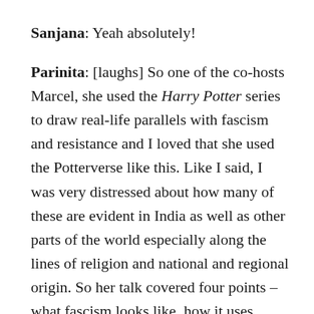Sanjana: Yeah absolutely!
Parinita: [laughs] So one of the co-hosts Marcel, she used the Harry Potter series to draw real-life parallels with fascism and resistance and I loved that she used the Potterverse like this. Like I said, I was very distressed about how many of these are evident in India as well as other parts of the world especially along the lines of religion and national and regional origin. So her talk covered four points – what fascism looks like, how it uses existing systems of power – media and democracy and education – how to be an ally, and how to fight back. All of her examples were from the Harry Potter books and the movies but she was talking about it mostly in terms of the rise of white nationalism, hate